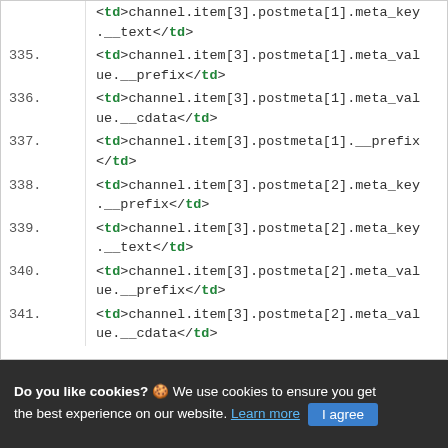335. <td>channel.item[3].postmeta[1].meta_value.__prefix</td>
336. <td>channel.item[3].postmeta[1].meta_value.__cdata</td>
337. <td>channel.item[3].postmeta[1].__prefix</td>
338. <td>channel.item[3].postmeta[2].meta_key.__prefix</td>
339. <td>channel.item[3].postmeta[2].meta_key.__text</td>
340. <td>channel.item[3].postmeta[2].meta_value.__prefix</td>
341. <td>channel.item[3].postmeta[2].meta_value.__cdata</td>
Do you like cookies? 🍪 We use cookies to ensure you get the best experience on our website. Learn more | I agree